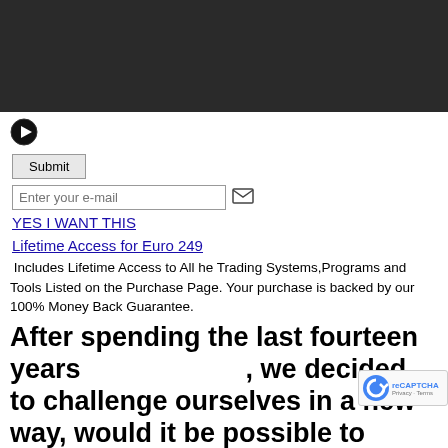[Figure (screenshot): Dark gray video player bar at top of page]
[Figure (other): Play button (triangle icon) below video bar]
Submit button
Enter your e-mail (input field with envelope icon)
YES I WANT THIS
Lifetime Access for Euro 249
Includes Lifetime Access to All he Trading Systems,Programs and Tools Listed on the Purchase Page. Your purchase is backed by our 100% Money Back Guarantee.
After spending the last fourteen years                              , we decided to challenge ourselves in a new way, would it be possible to "break the value barrier" and offer awesome tr... like...